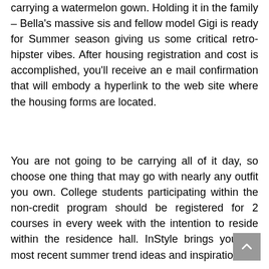carrying a watermelon gown. Holding it in the family – Bella's massive sis and fellow model Gigi is ready for Summer season giving us some critical retro-hipster vibes. After housing registration and cost is accomplished, you'll receive an e mail confirmation that will embody a hyperlink to the web site where the housing forms are located.
You are not going to be carrying all of it day, so choose one thing that may go with nearly any outfit you own. College students participating within the non-credit program should be registered for 2 courses in every week with the intention to reside within the residence hall. InStyle brings you the most recent summer trend ideas and inspiration!